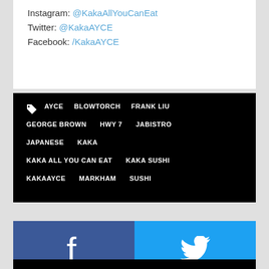Instagram: @KakaAllYouCanEat
Twitter: @KakaAYCE
Facebook: /KakaAYCE
AYCE  BLOWTORCH  FRANK LIU  GEORGE BROWN  HWY 7  JABISTRO  JAPANESE  KAKA  KAKA ALL YOU CAN EAT  KAKA SUSHI  KAKAAYCE  MARKHAM  SUSHI
[Figure (infographic): Facebook and Twitter social share buttons side by side]